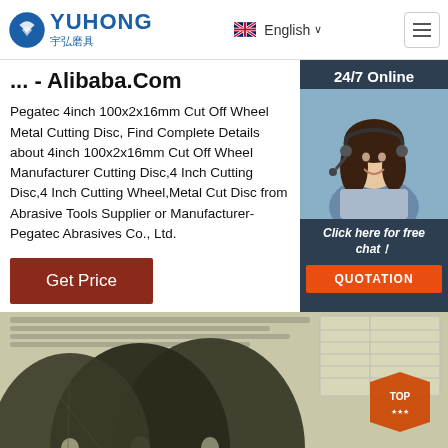[Figure (logo): Yuhong 宇弘磨具 company logo with blue wave icon]
[Figure (infographic): Language selector showing UK flag and 'English' with dropdown arrow, plus hamburger menu icon]
... - Alibaba.Com
Pegatec 4inch 100x2x16mm Cut Off Wheel Metal Cutting Disc, Find Complete Details about 4inch 100x2x16mm Cut Off Wheel Manufacturer Cutting Disc,4 Inch Cutting Disc,4 Inch Cutting Wheel,Metal Cut Disc from Abrasive Tools Supplier or Manufacturer-Pegatec Abrasives Co., Ltd.
[Figure (infographic): 24/7 Online sidebar with customer service representative photo, 'Click here for free chat!' text, and QUOTATION button]
[Figure (photo): Product photo showing dark green/black metal cutting discs on a document background with TOP badge watermark]